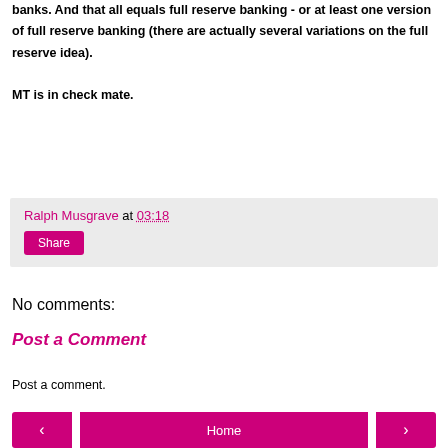banks. And that all equals full reserve banking - or at least one version of full reserve banking (there are actually several variations on the full reserve idea). MT is in check mate.
Ralph Musgrave at 03:18
Share
No comments:
Post a Comment
Post a comment.
‹ Home ›